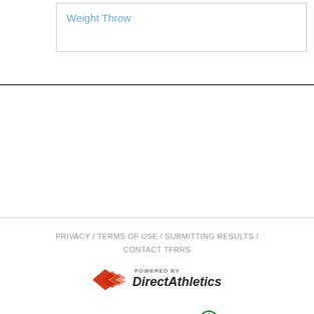| Weight Throw |
PRIVACY / TERMS OF USE / SUBMITTING RESULTS / CONTACT TFRRS
[Figure (logo): Powered by Direct Athletics logo with red chevron/wing mark]
[Figure (logo): TFRRSXC logo with green wing mark]
[Figure (logo): TFRRS Florida logo with blue wings]
Copyright © 2022 DirectAthletics, Inc.
Generated 2022-08-24 17:48:46